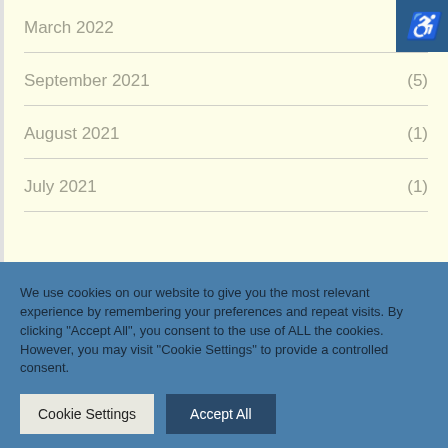March 2022 (1)
September 2021 (5)
August 2021 (1)
July 2021 (1)
We use cookies on our website to give you the most relevant experience by remembering your preferences and repeat visits. By clicking "Accept All", you consent to the use of ALL the cookies. However, you may visit "Cookie Settings" to provide a controlled consent.
Cookie Settings | Accept All